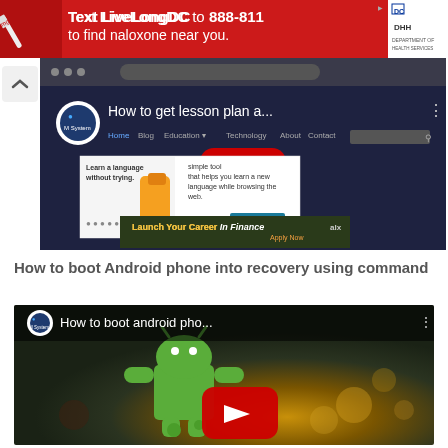[Figure (screenshot): Red advertisement banner: Text LiveLongDC to 888-811 to find naloxone near you, with DC health logos on right]
[Figure (screenshot): YouTube video thumbnail: How to get lesson plan a... with channel logo and play button, plus language learning ad popup and finance career banner]
How to boot Android phone into recovery using command
[Figure (screenshot): YouTube video thumbnail: How to boot android pho... showing Android robot figure with play button]